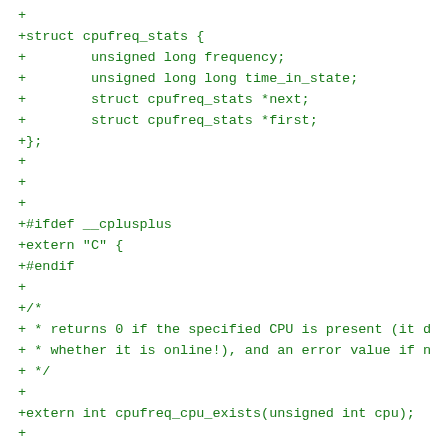+
+struct cpufreq_stats {
+        unsigned long frequency;
+        unsigned long long time_in_state;
+        struct cpufreq_stats *next;
+        struct cpufreq_stats *first;
+};
+
+
+
+#ifdef __cplusplus
+extern "C" {
+#endif
+
+/*
+ * returns 0 if the specified CPU is present (it d
+ * whether it is online!), and an error value if n
+ */
+
+extern int cpufreq_cpu_exists(unsigned int cpu);
+
+/* determine current CPU frequency
+ * - _kernel variant means kernel's opinion of CPU
+ * - _hardware variant means actual hardware CPU f
+ *   which is only available to root.
+ *
+ * returns 0 on failure, else frequency in kHz.